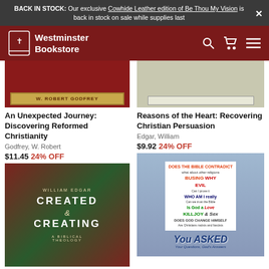BACK IN STOCK: Our exclusive Cowhide Leather edition of Be Thou My Vision is back in stock on sale while supplies last
[Figure (screenshot): Westminster Bookstore navigation bar with logo, search icon, cart icon, and menu icon on dark red background]
[Figure (photo): Top portion of book cover for An Unexpected Journey by W. Robert Godfrey]
An Unexpected Journey: Discovering Reformed Christianity
Godfrey, W. Robert
$11.45 24% OFF
[Figure (photo): Top portion of book cover for Reasons of the Heart: Recovering Christian Persuasion by William Edgar]
Reasons of the Heart: Recovering Christian Persuasion
Edgar, William
$9.92 24% OFF
[Figure (photo): Book cover for Created & Creating: A Biblical Theology by William Edgar, showing colorful overlapping circles]
[Figure (photo): Book cover for You Asked: Your Questions, God's Answers, showing colorful handwritten questions on a blue background]